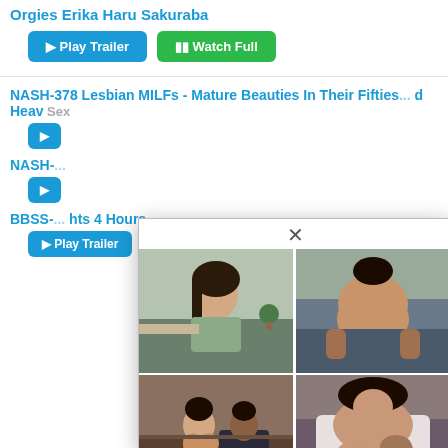Orgies Erika Haru Sakuraba
[Figure (other): Two buttons: blue Play Trailer and green Watch Full]
NASH-378 Lesbian MILFs - Mature Beauties In Their Fifties ... d Heavy Sex
[Figure (other): Blue play trailer button]
NASH-...
[Figure (other): Blue play trailer button]
BBSS-... hts 4 Hours
[Figure (other): Blue play trailer button and green Watch Full button]
[Figure (photo): Modal popup with close X button showing a 2x2 grid of adult content thumbnail images]